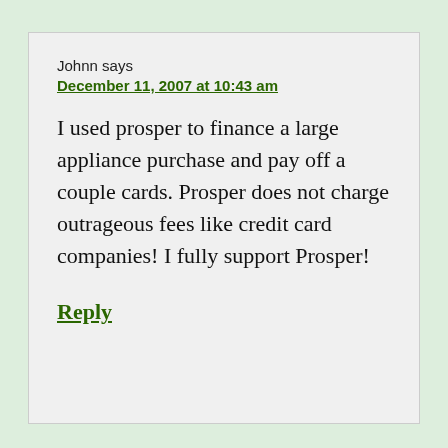Johnn says
December 11, 2007 at 10:43 am
I used prosper to finance a large appliance purchase and pay off a couple cards. Prosper does not charge outrageous fees like credit card companies! I fully support Prosper!
Reply